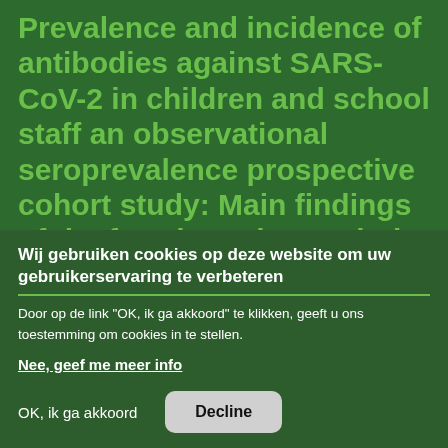Prevalence and incidence of antibodies against SARS-CoV-2 in children and school staff an observational seroprevalence prospective cohort study: Main findings of the fourth testing period among primary schoolchildren (Sep-Oct 2021)
Wij gebruiken cookies op deze website om uw gebruikerservaring te verbeteren
Door op de link "OK, ik ga akkoord" te klikken, geeft u ons toestemming om cookies in te stellen.
Nee, geef me meer info
OK, ik ga akkoord
Decline